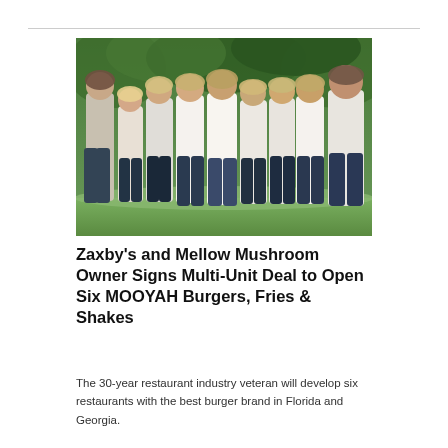[Figure (photo): Group photo of approximately nine people (mostly women, one man on each side) standing outdoors in front of green foliage, wearing white tops and dark jeans.]
Zaxby's and Mellow Mushroom Owner Signs Multi-Unit Deal to Open Six MOOYAH Burgers, Fries & Shakes
The 30-year restaurant industry veteran will develop six restaurants with the best burger brand in Florida and Georgia.